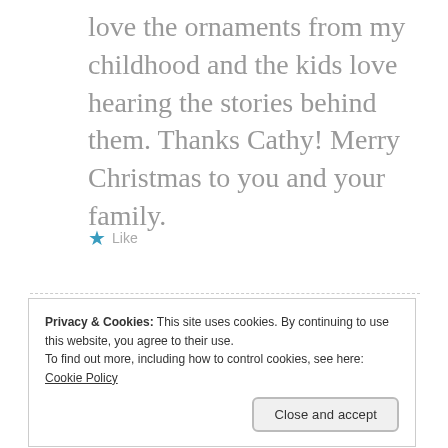love the ornaments from my childhood and the kids love hearing the stories behind them. Thanks Cathy! Merry Christmas to you and your family.
★ Like
Privacy & Cookies: This site uses cookies. By continuing to use this website, you agree to their use.
To find out more, including how to control cookies, see here:
Cookie Policy
Close and accept